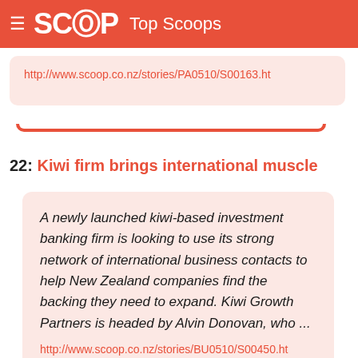SCOOP Top Scoops
http://www.scoop.co.nz/stories/PA0510/S00163.ht
22: Kiwi firm brings international muscle
A newly launched kiwi-based investment banking firm is looking to use its strong network of international business contacts to help New Zealand companies find the backing they need to expand. Kiwi Growth Partners is headed by Alvin Donovan, who ...
http://www.scoop.co.nz/stories/BU0510/S00450.ht